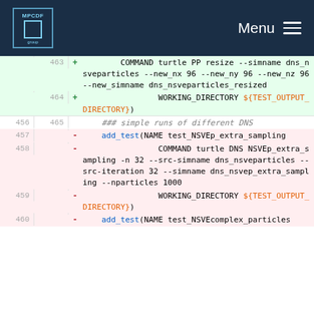MPCDF Menu
[Figure (screenshot): Code diff view showing CMakeLists or test configuration file. Lines 463-465 (added, green) show COMMAND turtle PP resize with simname dns_nsveparticles options and WORKING_DIRECTORY. Lines 456-460 (context/removed, pink) show add_test calls for NSVEp_extra_sampling and NSVEcomplex_particles tests with various command-line arguments.]